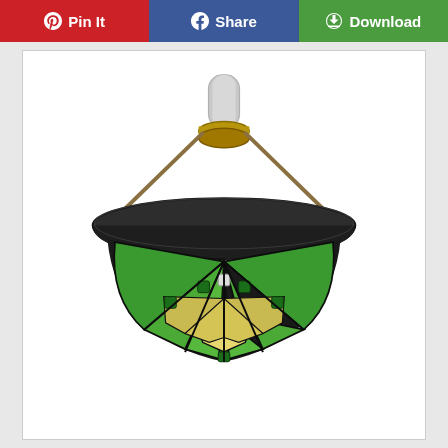[Figure (other): Social sharing toolbar with three buttons: Pin It (red, Pinterest), Share (blue, Facebook), Download (green)]
[Figure (photo): Tiffany-style stained glass pendant ceiling lamp with green and yellow geometric glass panels, dark bronze metal frame, and a white center column/fitter, photographed against a white background]